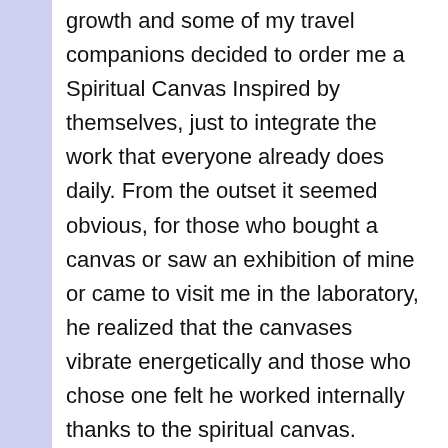growth and some of my travel companions decided to order me a Spiritual Canvas Inspired by themselves, just to integrate the work that everyone already does daily. From the outset it seemed obvious, for those who bought a canvas or saw an exhibition of mine or came to visit me in the laboratory, he realized that the canvases vibrate energetically and those who chose one felt he worked internally thanks to the spiritual canvas.
Very interesting, so far you have caught my attention, but in a nutshell, how much does it cost me to commission my Canvas ?! The / Client decides the budget he can have (starting from a minimum base that I have established on a measure of 80×40 or 50×70, which is made as a tape stry in fabric or canvas)